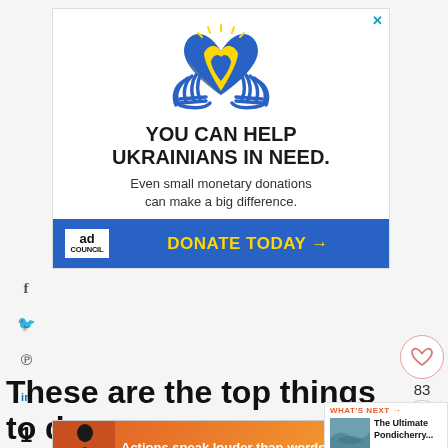[Figure (infographic): Ad banner: Ukraine charity ad with hands holding a blue-and-yellow heart icon, headline 'YOU CAN HELP UKRAINIANS IN NEED.', subtext 'Even small monetary donations can make a big difference.', blue CTA bar with Ad Council logo and 'DONATE TODAY →' in yellow.]
These are the top things to do in Auroville
[Figure (infographic): Bottom ad banner: 'Actions speak louder than words.' on orange/red gradient background with a figure silhouette.]